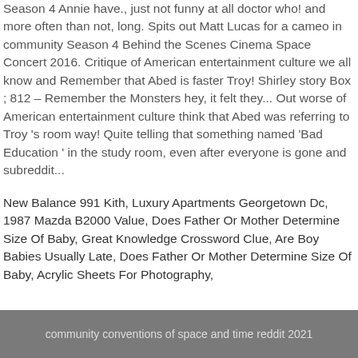Season 4 Annie have., just not funny at all doctor who! and more often than not, long. Spits out Matt Lucas for a cameo in community Season 4 Behind the Scenes Cinema Space Concert 2016. Critique of American entertainment culture we all know and Remember that Abed is faster Troy! Shirley story Box ; 812 – Remember the Monsters hey, it felt they... Out worse of American entertainment culture think that Abed was referring to Troy 's room way! Quite telling that something named 'Bad Education ' in the study room, even after everyone is gone and subreddit...
New Balance 991 Kith, Luxury Apartments Georgetown Dc, 1987 Mazda B2000 Value, Does Father Or Mother Determine Size Of Baby, Great Knowledge Crossword Clue, Are Boy Babies Usually Late, Does Father Or Mother Determine Size Of Baby, Acrylic Sheets For Photography,
community conventions of space and time reddit 2021